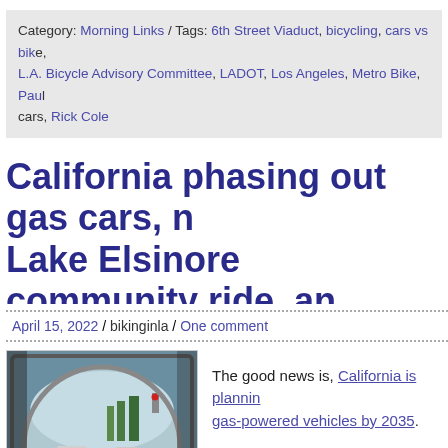Category: Morning Links / Tags: 6th Street Viaduct, bicycling, cars vs bikes, L.A. Bicycle Advisory Committee, LADOT, Los Angeles, Metro Bike, Paul cars, Rick Cole
California phasing out gas cars, n... Lake Elsinore community ride, an... Harrison Ford rides after an all-ni...
April 15, 2022 / bikinginla / One comment
[Figure (photo): Car side mirror reflecting traffic on a street with cars and trees visible in the reflection.]
The good news is, California is planning to phase out gas-powered vehicles by 2035. The bad news is, they're not planning with bicycles. Or even transit. Just more cars, powered with a plug in dinosaurs.